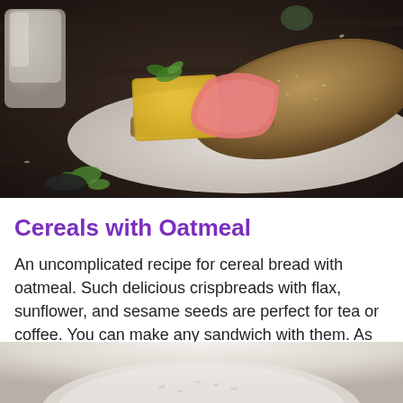[Figure (photo): A close-up photograph of multigrain crispbreads/cereal bread topped with cheese and rolled ham slices on a white platter, with basil leaves and seeds scattered around on a dark wooden surface. A glass of milk is visible in the background.]
Cereals with Oatmeal
An uncomplicated recipe for cereal bread with oatmeal. Such delicious crispbreads with flax, sunflower, and sesame seeds are perfect for tea or coffee. You can make any sandwich with them. As for the taste, they are incomparable, they cannot be compared w...
[Figure (photo): Partial view of a white bowl containing what appears to be oatmeal or porridge, shown from above on a white surface.]